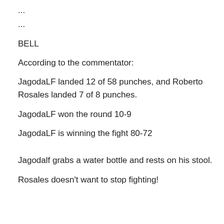...
...
BELL
According to the commentator:
JagodaLF landed 12 of 58 punches, and Roberto Rosales landed 7 of 8 punches.
JagodaLF won the round 10-9
JagodaLF is winning the fight 80-72
Jagodalf grabs a water bottle and rests on his stool.
Rosales doesn't want to stop fighting!